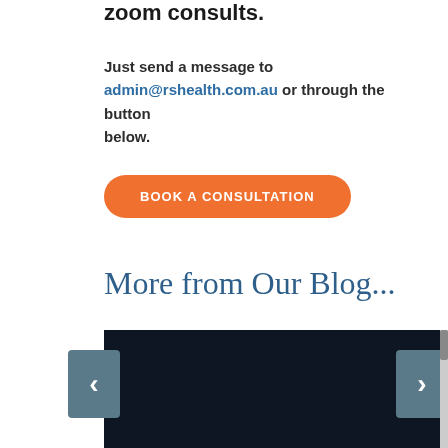zoom consults.
Just send a message to admin@rshealth.com.au or through the button below.
BOOK A CONSULTATION
More from Our Blog...
[Figure (photo): Dark background photo of two hands intertwined or touching, blog post thumbnail image for a health website slider]